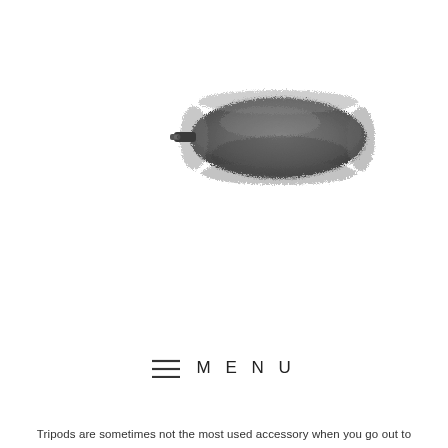[Figure (photo): A furry windscreen / wind muff accessory for a microphone, shown in dark gray/charcoal fur, elongated oval shape with a small metal clip on the left side. Photographed on a white background.]
MENU
Tripods are sometimes not the most used accessory when you go out to